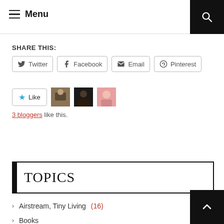Menu
SHARE THIS:
Twitter  Facebook  Email  Pinterest
Like  3 bloggers like this.
TOPICS
Airstream, Tiny Living (16)
Books (?)